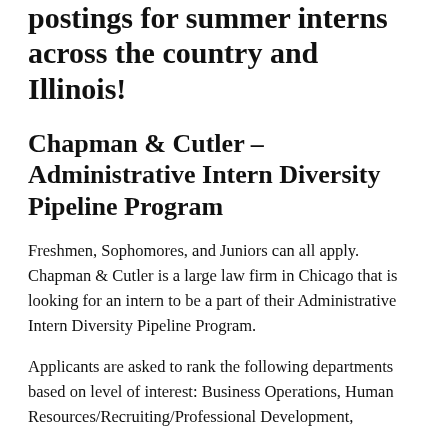postings for summer interns across the country and Illinois!
Chapman & Cutler – Administrative Intern Diversity Pipeline Program
Freshmen, Sophomores, and Juniors can all apply. Chapman & Cutler is a large law firm in Chicago that is looking for an intern to be a part of their Administrative Intern Diversity Pipeline Program.
Applicants are asked to rank the following departments based on level of interest: Business Operations, Human Resources/Recruiting/Professional Development,